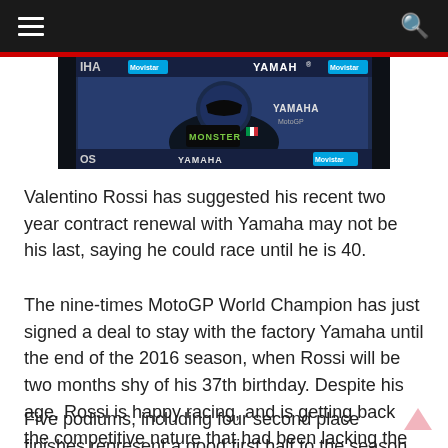Navigation bar with hamburger menu and search icon
[Figure (photo): Valentino Rossi in Yamaha MotoGP racing suit with Monster Energy and Yamaha branding visible in background]
Valentino Rossi has suggested his recent two year contract renewal with Yamaha may not be his last, saying he could race until he is 40.
The nine-times MotoGP World Champion has just signed a deal to stay with the factory Yamaha until the end of the 2016 season, when Rossi will be two months shy of his 37th birthday. Despite his age, Rossi is happy racing, and is getting back the competitive nature that had been lacking the past three seasons.
Five podiums, including four second place finishes represent a good first half to the season for Rossi,